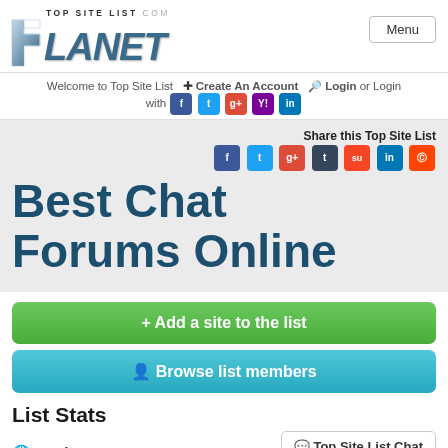[Figure (logo): Top Site List Planet logo with metallic blue 3D text]
Menu
Welcome to Top Site List  Create An Account  Login or Login with [social icons: f, t, g+, Y!, in]
Share this Top Site List [social icons: f, t, g+, t, su, in, reddit]
Best Chat Forums Online
+ Add a site to the list
Browse list members
List Stats
24 sites
Top Site List Chat